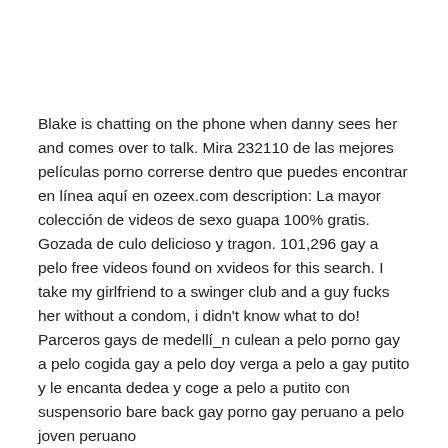Blake is chatting on the phone when danny sees her and comes over to talk. Mira 232110 de las mejores películas porno correrse dentro que puedes encontrar en línea aquí en ozeex.com description: La mayor colección de videos de sexo guapa 100% gratis. Gozada de culo delicioso y tragon. 101,296 gay a pelo free videos found on xvideos for this search. I take my girlfriend to a swinger club and a guy fucks her without a condom, i didn't know what to do! Parceros gays de medellí_n culean a pelo porno gay a pelo cogida gay a pelo doy verga a pelo a gay putito y le encanta dedea y coge a pelo a putito con suspensorio bare back gay porno gay peruano a pelo joven peruano